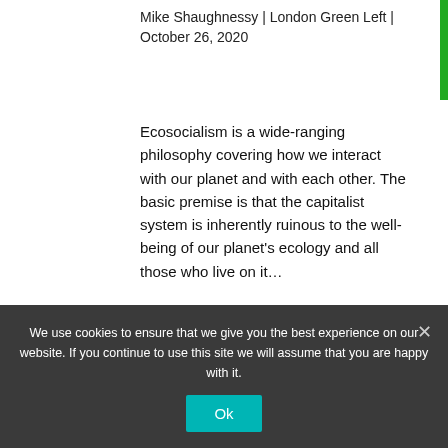Mike Shaughnessy | London Green Left | October 26, 2020
Ecosocialism is a wide-ranging philosophy covering how we interact with our planet and with each other. The basic premise is that the capitalist system is inherently ruinous to the well-being of our planet’s ecology and all those who live on it…
[Figure (logo): Cooperation Jackson logo — circular badge with gear outline in red, green ring with dotted border, black background, yellow text reading COOPERATION around the top and ION at right, red figure/star symbol in center]
We use cookies to ensure that we give you the best experience on our website. If you continue to use this site we will assume that you are happy with it.